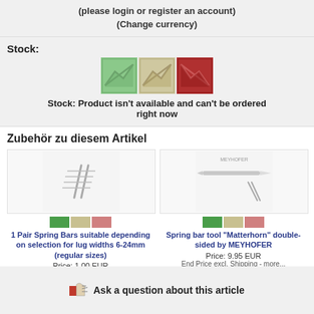(please login or register an account)
(Change currency)
Stock:
[Figure (infographic): Three stock indicator icons: green (in stock), beige/yellow (limited), red (out of stock/unavailable)]
Stock: Product isn't available and can't be ordered right now
Zubehör zu diesem Artikel
[Figure (photo): 1 Pair Spring Bars product image with hash/number symbol graphic]
1 Pair Spring Bars suitable depending on selection for lug widths 6-24mm (regular sizes)
Price: 1.00 EUR
End Price excl. Shipping - more...
[Figure (photo): Spring bar tool Matterhorn by MEYHOFER product image showing a tool and needles]
Spring bar tool "Matterhorn" double-sided by MEYHOFER
Price: 9.95 EUR
End Price excl. Shipping - more...
Ask a question about this article